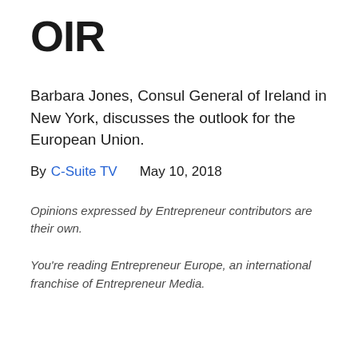OIR
Barbara Jones, Consul General of Ireland in New York, discusses the outlook for the European Union.
By C-Suite TV    May 10, 2018
Opinions expressed by Entrepreneur contributors are their own.
You're reading Entrepreneur Europe, an international franchise of Entrepreneur Media.
Barbara Jones, Consul General of Ireland in